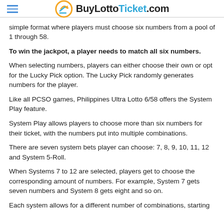BuyLottoTicket.com
simple format where players must choose six numbers from a pool of 1 through 58.
To win the jackpot, a player needs to match all six numbers.
When selecting numbers, players can either choose their own or opt for the Lucky Pick option. The Lucky Pick randomly generates numbers for the player.
Like all PCSO games, Philippines Ultra Lotto 6/58 offers the System Play feature.
System Play allows players to choose more than six numbers for their ticket, with the numbers put into multiple combinations.
There are seven system bets player can choose: 7, 8, 9, 10, 11, 12 and System 5-Roll.
When Systems 7 to 12 are selected, players get to choose the corresponding amount of numbers. For example, System 7 gets seven numbers and System 8 gets eight and so on.
Each system allows for a different number of combinations, starting